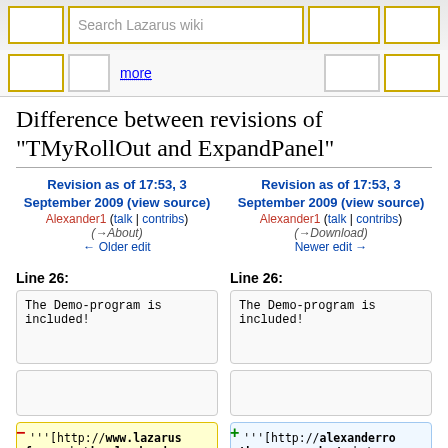Search Lazarus wiki | more
Difference between revisions of "TMyRollOut and ExpandPanel"
Revision as of 17:53, 3 September 2009 (view source) Alexander1 (talk | contribs) (→About) ← Older edit
Revision as of 17:53, 3 September 2009 (view source) Alexander1 (talk | contribs) (→Download) Newer edit →
Line 26:
Line 26:
The Demo-program is included!
The Demo-program is included!
'''[http://www.lazarusforum.de/downloads.php?view=detail&id=17
'''[http://alexanderro th.spacequadrat.de/con tent/expandpanels